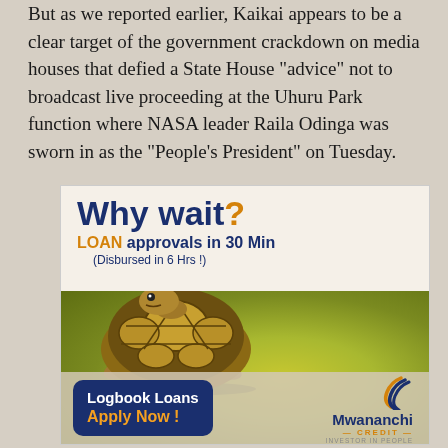But as we reported earlier, Kaikai appears to be a clear target of the government crackdown on media houses that defied a State House “advice” not to broadcast live proceeding at the Uhuru Park function where NASA leader Raila Odinga was sworn in as the “People’s President” on Tuesday.
[Figure (advertisement): Mwananchi Credit advertisement featuring a tortoise, with text: 'Why wait? LOAN approvals in 30 Min (Disbursed in 6 Hrs !) Logbook Loans Apply Now!' and Mwananchi Credit logo.]